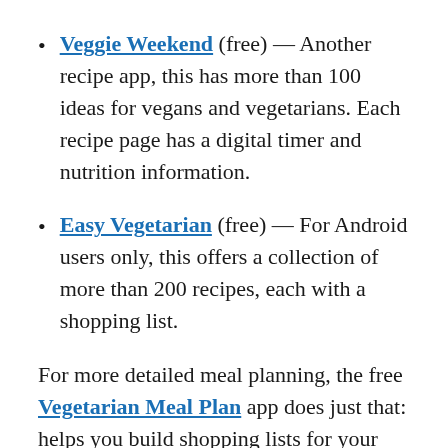Veggie Weekend (free) — Another recipe app, this has more than 100 ideas for vegans and vegetarians. Each recipe page has a digital timer and nutrition information.
Easy Vegetarian (free) — For Android users only, this offers a collection of more than 200 recipes, each with a shopping list.
For more detailed meal planning, the free Vegetarian Meal Plan app does just that: helps you build shopping lists for your week of breakfasts, lunches, dinners, and snacks selected ahead of time. You won't slip up, since you'll be prepared with a stocked-up fridge and